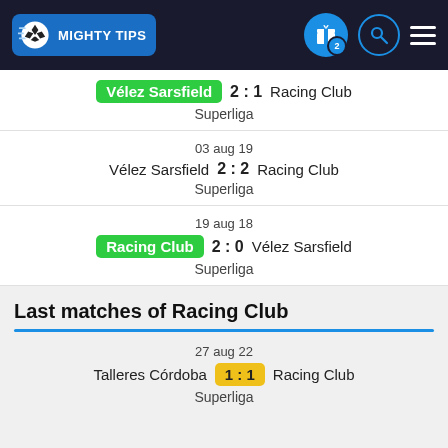[Figure (logo): Mighty Tips logo with soccer ball and blue background]
Vélez Sarsfield 2 : 1 Racing Club Superliga
03 aug 19
Vélez Sarsfield 2 : 2 Racing Club
Superliga
19 aug 18
Racing Club 2 : 0 Vélez Sarsfield
Superliga
Last matches of Racing Club
27 aug 22
Talleres Córdoba 1 : 1 Racing Club
Superliga